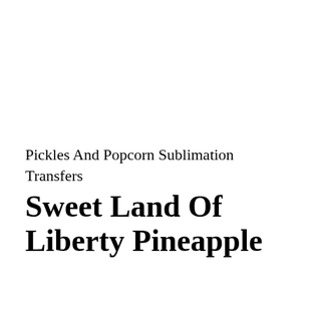Pickles And Popcorn Sublimation Transfers
Sweet Land Of Liberty Pineapple